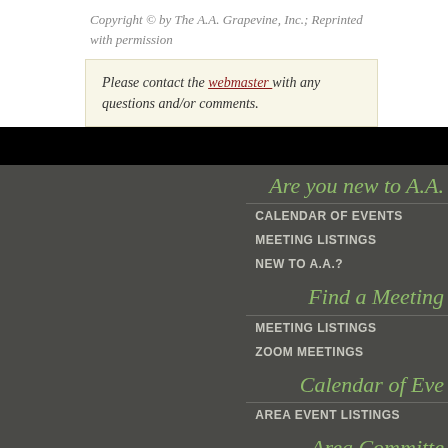Copyright © by The A.A. Grapevine, Inc.; Reprinted with permission
Please contact the webmaster with any questions and/or comments.
Are you new to A.A.
CALENDAR OF EVENTS
MEETING LISTINGS
NEW TO A.A.?
Find a Meeting
MEETING LISTINGS
ZOOM MEETINGS
Calendar of Events
AREA EVENT LISTINGS
Area Committee